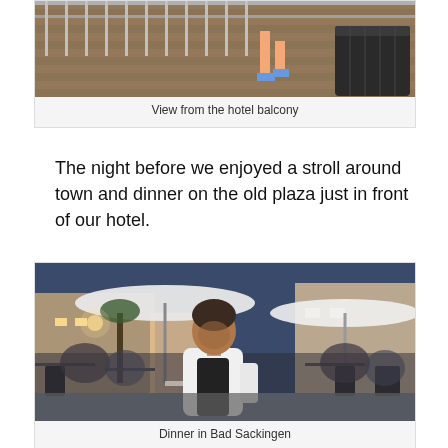[Figure (photo): View from the hotel balcony – person walking on wooden deck with metal railing and a dark wicker cube seat]
View from the hotel balcony
The night before we enjoyed a stroll around town and dinner on the old plaza just in front of our hotel.
[Figure (photo): Dinner in Bad Sackingen – woman in white jacket seated at outdoor restaurant on old town plaza at dusk, large umbrellas and buildings in background]
Dinner in Bad Sackingen